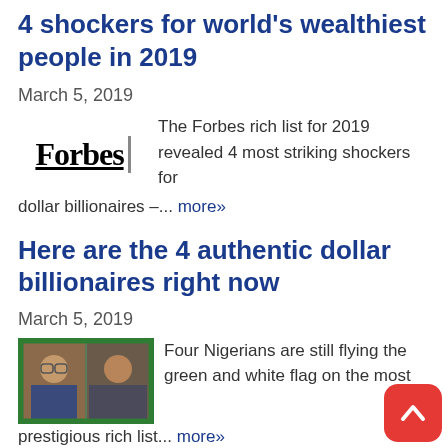4 shockers for world's wealthiest people in 2019
March 5, 2019
The Forbes rich list for 2019 revealed 4 most striking shockers for dollar billionaires –... more»
Here are the 4 authentic dollar billionaires right now
March 5, 2019
Four Nigerians are still flying the green and white flag on the most prestigious rich list... more»
[Figure (photo): Two Nigerian men side by side photo with green border]